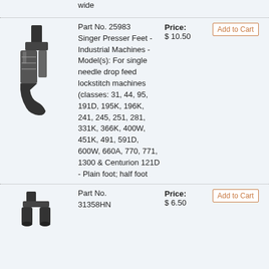wide
[Figure (photo): Singer industrial presser foot, half foot style, black metal]
Part No. 25983 Singer Presser Feet -Industrial Machines - Model(s): For single needle drop feed lockstitch machines (classes: 31, 44, 95, 191D, 195K, 196K, 241, 245, 251, 281, 331K, 366K, 400W, 451K, 491, 591D, 600W, 660A, 770, 771, 1300 & Centurion 121D - Plain foot; half foot
Price: $ 10.50
Add to Cart
[Figure (photo): Singer industrial presser foot, fork/groove style, black metal]
Part No. 31358HN
Price: $ 6.50
Add to Cart